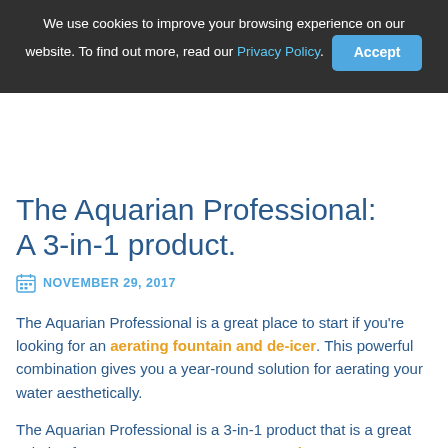We use cookies to improve your browsing experience on our website. To find out more, read our Privacy Policy. [Accept]
The Aquarian Professional: A 3-in-1 product.
NOVEMBER 29, 2017
The Aquarian Professional is a great place to start if you're looking for an aerating fountain and de-icer. This powerful combination gives you a year-round solution for aerating your water aesthetically.
The Aquarian Professional is a 3-in-1 product that is a great solution for wastewater management and treatment. Powered by a Franklin Electric Submersible Motor, it's equipped with a state-of-the-art water-cooled and lubricated